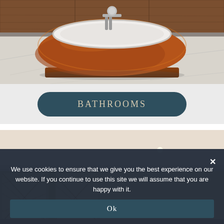[Figure (photo): A luxury freestanding copper bathtub with white interior, set on a marble floor with wooden cabinetry in the background.]
BATHROOMS
[Figure (photo): Interior room with cream-painted wooden cabinetry featuring lattice panel doors, crown molding, and ceiling with recessed lighting.]
We use cookies to ensure that we give you the best experience on our website. If you continue to use this site we will assume that you are happy with it.
Ok